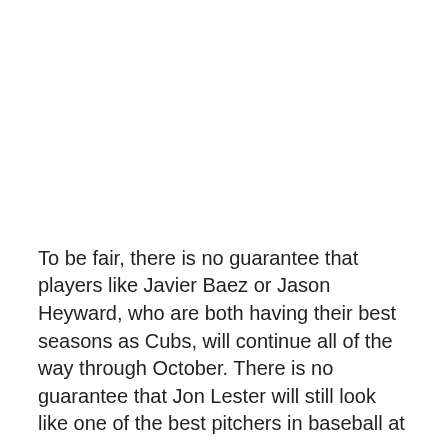To be fair, there is no guarantee that players like Javier Baez or Jason Heyward, who are both having their best seasons as Cubs, will continue all of the way through October. There is no guarantee that Jon Lester will still look like one of the best pitchers in baseball at